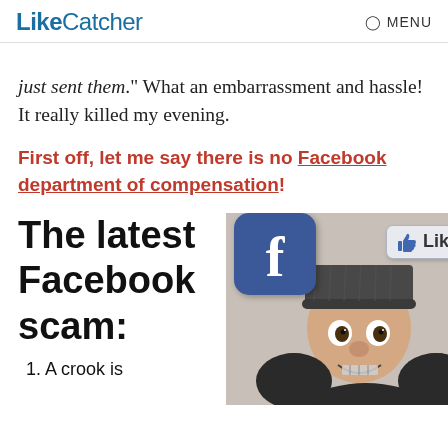LikeCatcher — MENU
just sent them." What an embarrassment and hassle! It really killed my evening.
First off, let me say there is no Facebook department of compensation!
The latest Facebook scam:
1. A crook is
[Figure (photo): Photo of a man in a dark beanie hat and black gloves making a sneaky/crook expression, with a Facebook logo icon and a Facebook Like button overlaid in the upper portion]